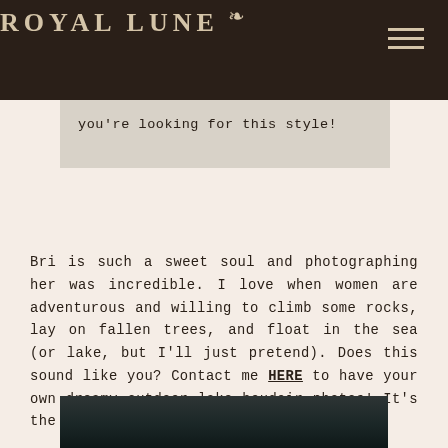ROYAL LUNE
you're looking for this style!
Bri is such a sweet soul and photographing her was incredible. I love when women are adventurous and willing to climb some rocks, lay on fallen trees, and float in the sea (or lake, but I'll just pretend). Does this sound like you? Contact me HERE to have your own dreamy outdoor lake boudoir photos! It's the perfect way to cool off this summer.
[Figure (photo): Dark water surface photograph at the bottom of the page]